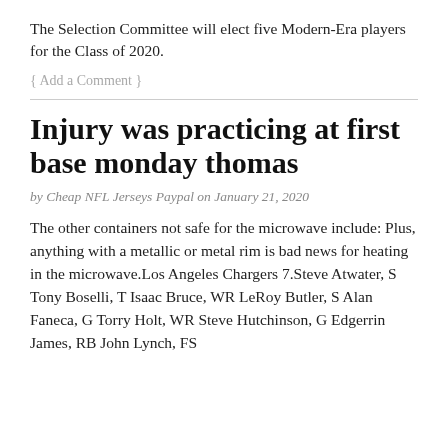The Selection Committee will elect five Modern-Era players for the Class of 2020.
{ Add a Comment }
Injury was practicing at first base monday thomas
by Cheap NFL Jerseys Paypal on January 21, 2020
The other containers not safe for the microwave include: Plus, anything with a metallic or metal rim is bad news for heating in the microwave.Los Angeles Chargers 7.Steve Atwater, S Tony Boselli, T Isaac Bruce, WR LeRoy Butler, S Alan Faneca, G Torry Holt, WR Steve Hutchinson, G Edgerrin James, RB John Lynch, FS